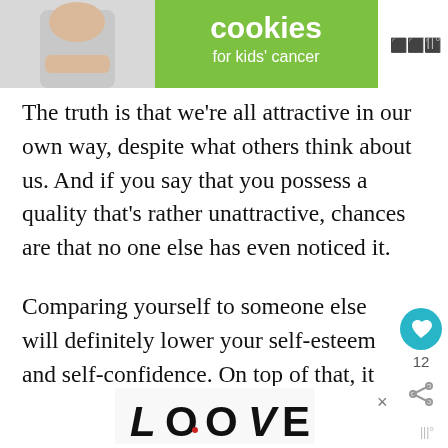[Figure (screenshot): Advertisement banner at top: image of person with cookies for kids' cancer green ad, with Mediavine logo]
The truth is that we're all attractive in our own way, despite what others think about us. And if you say that you possess a quality that's rather unattractive, chances are that no one else has even noticed it.
Comparing yourself to someone else will definitely lower your self-esteem and self-confidence. On top of that, it will make you feel worthless and bitter.
[Figure (screenshot): Bottom advertisement banner: decorative LOVE logo text in black and white intricate pattern, with close X button and Mediavine logo]